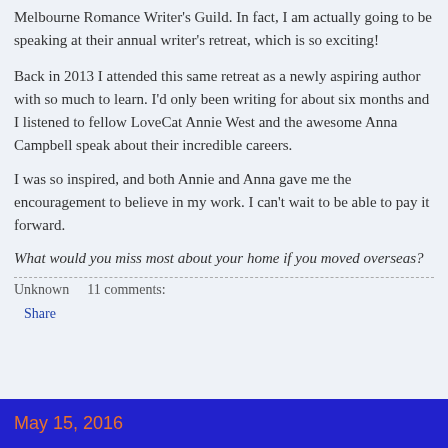Melbourne Romance Writer's Guild. In fact, I am actually going to be speaking at their annual writer's retreat, which is so exciting!
Back in 2013 I attended this same retreat as a newly aspiring author with so much to learn. I'd only been writing for about six months and I listened to fellow LoveCat Annie West and the awesome Anna Campbell speak about their incredible careers.
I was so inspired, and both Annie and Anna gave me the encouragement to believe in my work. I can't wait to be able to pay it forward.
What would you miss most about your home if you moved overseas?
Unknown     11 comments:
Share
May 15, 2016